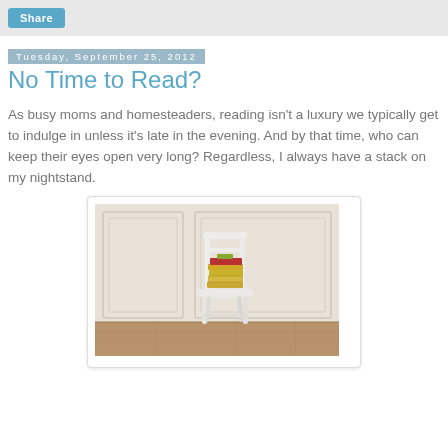Share
Tuesday, September 25, 2012
No Time to Read?
As busy moms and homesteaders, reading isn't a luxury we typically get to indulge in unless it's late in the evening. And by that time, who can keep their eyes open very long? Regardless, I always have a stack on my nightstand.
[Figure (photo): A white wooden chair with a stack of books on its seat, set against a white paneled wall with dark hardwood floor]